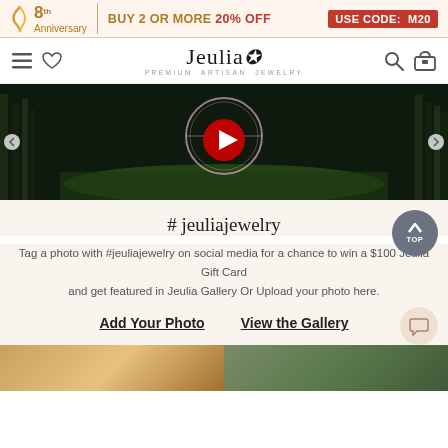8th Anniversary | BUY 2 OR MORE 20% OFF USE CODE: M20
[Figure (screenshot): Jeulia jewelry website navigation bar with hamburger menu, heart icon, Jeulia logo with tagline PREMIUM ARTISAN JEWELRY, search and cart icons]
[Figure (screenshot): YouTube video thumbnail showing a fantasy forest scene with a jewelry ring hoop, with red play button overlay]
#jeuliajewelry
Tag a photo with #jeuliajewelry on social media for a chance to win a $100 Jeulia Gift Card and get featured in Jeulia Gallery Or Upload your photo here.
Add Your Photo
View the Gallery
[Figure (photo): Two small thumbnail images at the bottom of the page showing jewelry photos]